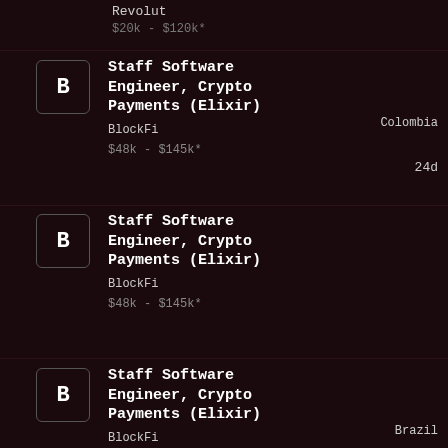Revolut
$20k - $120k*
Staff Software Engineer, Crypto Payments (Elixir) | BlockFi | $48k - $145k* | Colombia | 24d
Staff Software Engineer, Crypto Payments (Elixir) | BlockFi | $48k - $145k* | Brazil | 24d
Staff Software Engineer, Crypto Payments (Elixir) | BlockFi | $48k - $145k* | Mexico City, Mexico | 24d
Senior Staff Software Engineer, ... | Mexico